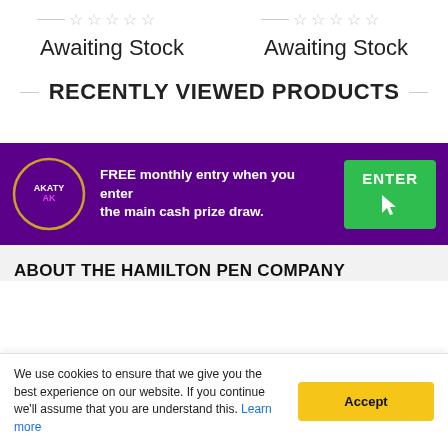Awaiting Stock
Awaiting Stock
RECENTLY VIEWED PRODUCTS
[Figure (infographic): Purple promotional banner for AKATYAK with text 'FREE monthly entry when you enter the main cash prize draw.' and a green ENTER button with cursor icon]
ABOUT THE HAMILTON PEN COMPANY
We use cookies to ensure that we give you the best experience on our website. If you continue we'll assume that you are understand this. Learn more